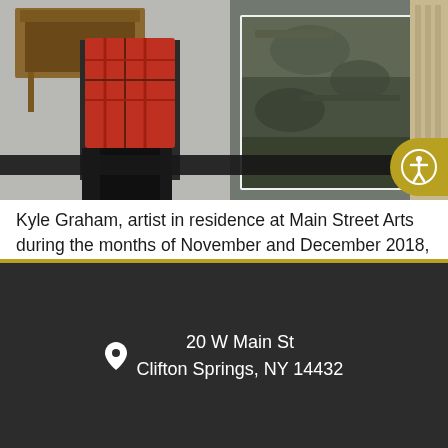[Figure (photo): Photo of Kyle Graham, artist in residence, standing in a studio space with a large framed landscape artwork on a dark table. A wooden side table is visible in the background. An accessibility icon button appears in the upper right corner of the image.]
Kyle Graham, artist in residence at Main Street Arts during the months of November and December 2018, is working in one of our two studio spaces on our second floor. We asked Kyle some questions about her work and studio practice: Q: Tell us about your background. Hello! I currently reside in Whistler, BC, Canada, moved to the west coast in 2006 [...]
20 W Main St
Clifton Springs, NY 14432